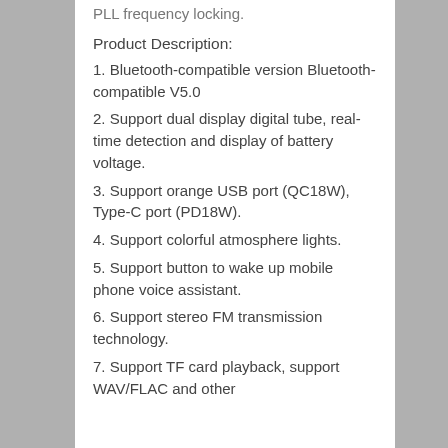PLL frequency locking.
Product Description:
1. Bluetooth-compatible version Bluetooth-compatible V5.0
2. Support dual display digital tube, real-time detection and display of battery voltage.
3. Support orange USB port (QC18W), Type-C port (PD18W).
4. Support colorful atmosphere lights.
5. Support button to wake up mobile phone voice assistant.
6. Support stereo FM transmission technology.
7. Support TF card playback, support WAV/FLAC and other